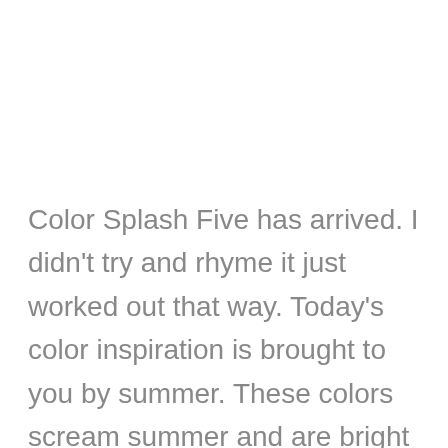Color Splash Five has arrived. I didn't try and rhyme it just worked out that way. Today's color inspiration is brought to you by summer. These colors scream summer and are bright and fun. One of my favorite techniques of all time is ink blending. These colors are perfection for an ink blended background. Sprinkle [...]